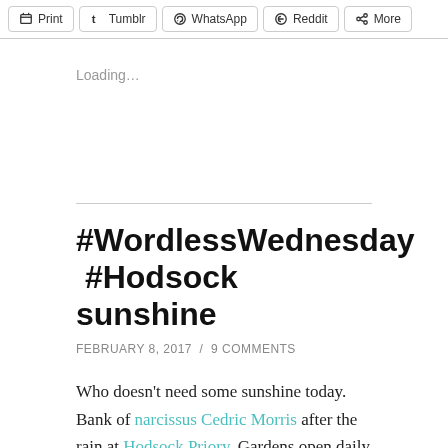Print | Tumblr | WhatsApp | Reddit | More
Loading...
#WordlessWednesday #Hodsock sunshine
FEBRUARY 8, 2017 / 9 COMMENTS
Who doesn't need some sunshine today. Bank of narcissus Cedric Morris after the rain at Hodsock Priory. Gardens open daily until 5th March. Not just snowdrops; scented shrubs, hellebores, dwarf Iris,